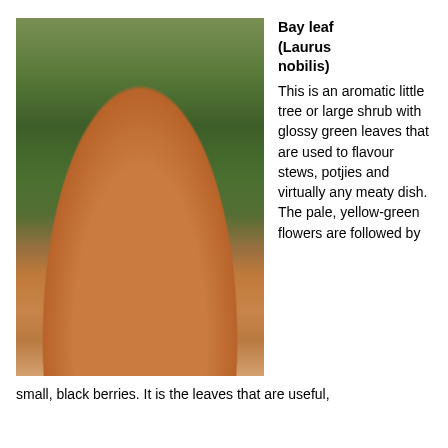[Figure (photo): A terracotta pot containing a bay leaf plant (Laurus nobilis) with tall glossy green stems, surrounded by other small herbs and plants, set against a rustic stone wall background with purple flowers visible in the garden behind.]
Bay leaf (Laurus nobilis)
This is an aromatic little tree or large shrub with glossy green leaves that are used to flavour stews, potjies and virtually any meaty dish. The pale, yellow-green flowers are followed by
small, black berries. It is the leaves that are useful,